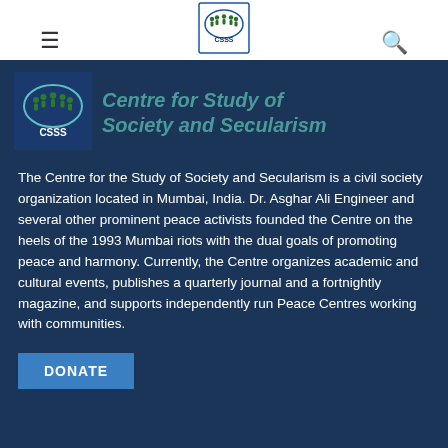[Figure (logo): CSSS logo in navigation bar — circular icon with green figures and blue border, text CSSS below]
[Figure (logo): CSSS logo in header — square blue background with green people figures, text CSSS below]
Centre for Study of Society and Secularism
The Centre for the Study of Society and Secularism is a civil society organization located in Mumbai, India. Dr. Asghar Ali Engineer and several other prominent peace activists founded the Centre on the heels of the 1993 Mumbai riots with the dual goals of promoting peace and harmony. Currently, the Centre organizes academic and cultural events, publishes a quarterly journal and a fortnightly magazine, and supports independently run Peace Centres working with communities.
DONATE